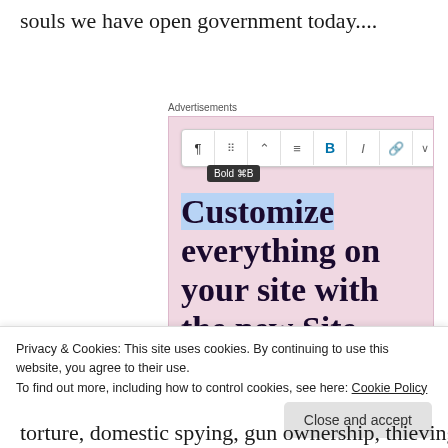souls we have open government today....
Advertisements
[Figure (screenshot): WordPress site editor advertisement showing a toolbar with bold button tooltip and headline 'Customize everything on your site with the new Site Editor.' with a 'Start Today' button on a pink background.]
Privacy & Cookies: This site uses cookies. By continuing to use this website, you agree to their use.
To find out more, including how to control cookies, see here: Cookie Policy
torture, domestic spying, gun ownership, thieving vice